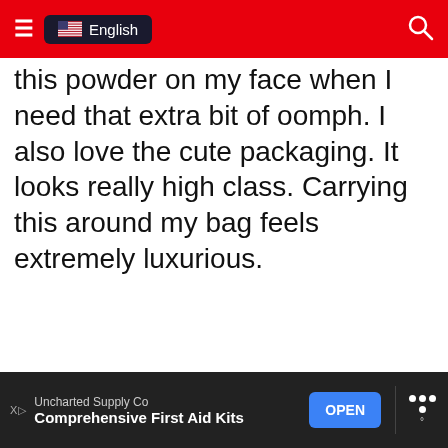≡  🇺🇸 English   🔍
this powder on my face when I need that extra bit of oomph. I also love the cute packaging. It looks really high class. Carrying this around my bag feels extremely luxurious.
[Figure (photo): Open jar of loose face powder with an embossed silver lid, showing white/cream powder inside. A small brand logo is visible on the jar. The lid is propped open next to the jar.]
Uncharted Supply Co  Comprehensive First Aid Kits  OPEN